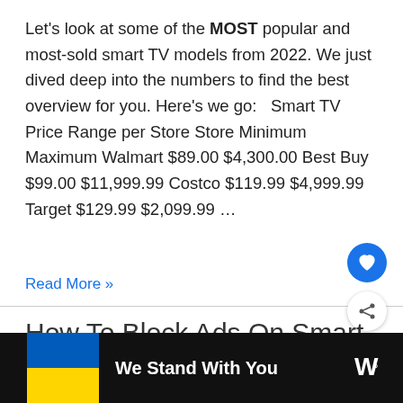Let's look at some of the MOST popular and most-sold smart TV models from 2022. We just dived deep into the numbers to find the best overview for you. Here's we go:   Smart TV Price Range per Store Store Minimum Maximum Walmart $89.00 $4,300.00 Best Buy $99.00 $11,999.99 Costco $119.99 $4,999.99 Target $129.99 $2,099.99 …
Read More »
How To Block Ads On Smart
[Figure (infographic): Bottom advertisement bar with Ukrainian flag (blue and yellow), text 'We Stand With You', close X button, and media company logo (wave symbol)]